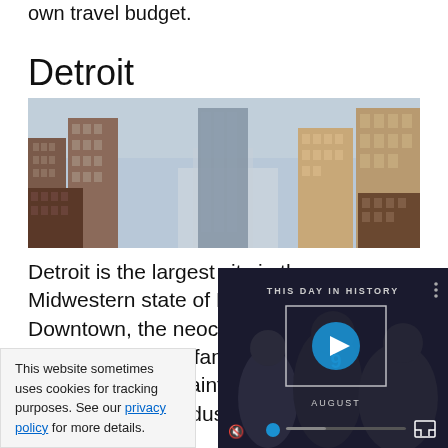own travel budget.
Detroit
[Figure (photo): Aerial/street-level view of Detroit city skyline showing multiple brick and glass skyscrapers under an overcast sky]
Detroit is the largest city in the Midwestern state of Michigan. Near Downtown, the neoclassical Detroit Institute of Arts is famed for the Detroit Industry Murals painted by Diego Rivera, and… to the auto indust…
This website sometimes uses cookies for tracking purposes. See our privacy policy for more details.
[Figure (screenshot): Video player overlay showing 'THIS DAY IN HISTORY' with a play button, the number 9, the word AUGUST, mute icon, progress bar, and fullscreen button on dark background]